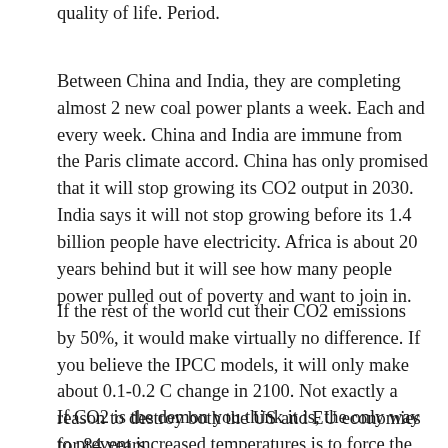quality of life. Period.
Between China and India, they are completing almost 2 new coal power plants a week. Each and every week. China and India are immune from the Paris climate accord. China has only promised that it will stop growing its CO2 output in 2030. India says it will not stop growing before its 1.4 billion people have electricity. Africa is about 20 years behind but it will see how many people power pulled out of poverty and want to join in.
If the rest of the world cut their CO2 emissions by 50%, it would make virtually no difference. If you believe the IPCC models, it will only make about 0.1-0.2 C change in 2100. Not exactly a reason to destroy both the US and EU economies for 84 years.
If CO2 is the demon you think it is, the only way to prevent increased temperatures is to force the 1.4